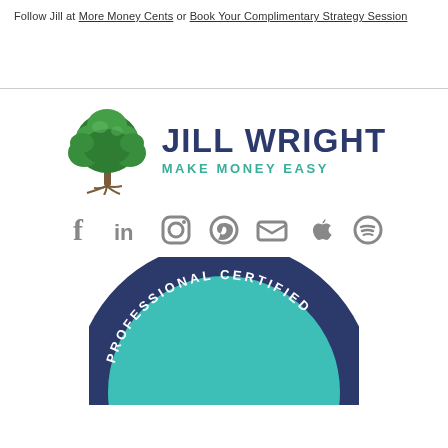Follow Jill at More Money Cents  or  Book Your Complimentary Strategy Session
[Figure (logo): Jill Wright Make Money Easy logo with tree graphic and text]
[Figure (infographic): Social media icons: Facebook, LinkedIn, Instagram, Pinterest, Email, Apple, Spotify]
[Figure (illustration): Professional Certified badge - The Life (partially visible circular teal certification badge)]